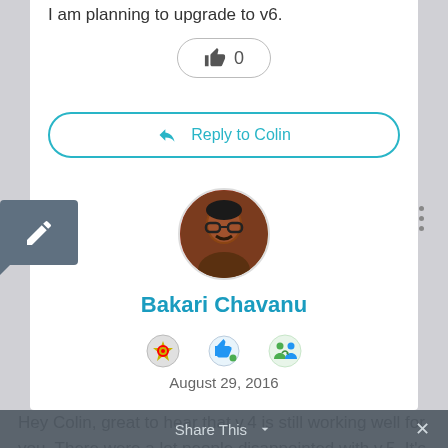I am planning to upgrade to v6.
[Figure (screenshot): Like button with thumbs-up icon and count 0]
[Figure (screenshot): Reply to Colin button with back-arrow icon]
[Figure (screenshot): Edit/pencil icon in dark rounded square speech bubble]
[Figure (photo): Circular avatar photo of Bakari Chavanu]
Bakari Chavanu
[Figure (screenshot): Three badge/achievement icons: star badge, thumbs up, people recycle]
August 29, 2016
Hey Colin, great to hear that v.4 is still working well for you. There were a lot people disappointed with v.5. It's hard to believe that
Share This